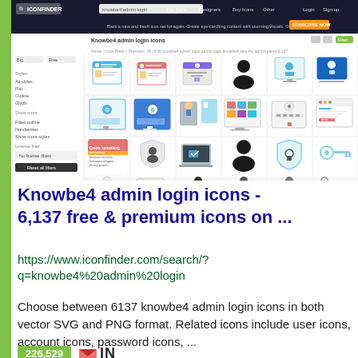[Figure (screenshot): Screenshot of iconfinder.com search results page for 'knowbe4 admin login' icons, showing a grid of colorful icon sets including user/admin/login themed icons such as ID cards, padlocks, monitors, silhouettes, keys, and shield icons on a white background with left sidebar filters.]
Knowbe4 admin login icons - 6,137 free & premium icons on ...
https://www.iconfinder.com/search/?q=knowbe4%20admin%20login
Choose between 6137 knowbe4 admin login icons in both vector SVG and PNG format. Related icons include user icons, account icons, password icons, ...
226,529  IN